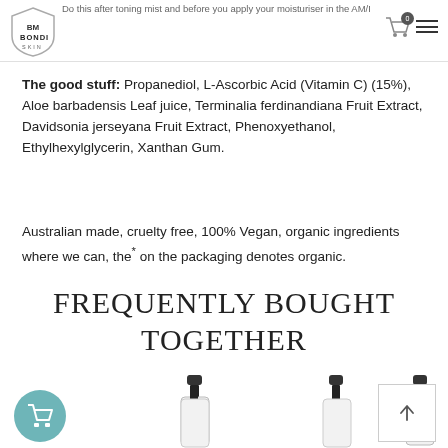Do this after toning mist and before you apply your moisturiser in the AM/PM
The good stuff: Propanediol, L-Ascorbic Acid (Vitamin C) (15%), Aloe barbadensis Leaf juice, Terminalia ferdinandiana Fruit Extract, Davidsonia jerseyana Fruit Extract, Phenoxyethanol, Ethylhexylglycerin, Xanthan Gum.
Australian made, cruelty free, 100% Vegan, organic ingredients where we can, the* on the packaging denotes organic.
FREQUENTLY BOUGHT TOGETHER
[Figure (photo): Two dark dropper-top serum bottles partially visible at the bottom of the page, with a teal shopping cart button bottom-left and a back-to-top arrow button bottom-right.]